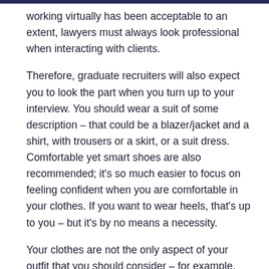working virtually has been acceptable to an extent, lawyers must always look professional when interacting with clients.
Therefore, graduate recruiters will also expect you to look the part when you turn up to your interview. You should wear a suit of some description – that could be a blazer/jacket and a shirt, with trousers or a skirt, or a suit dress. Comfortable yet smart shoes are also recommended; it's so much easier to focus on feeling confident when you are comfortable in your clothes. If you want to wear heels, that's up to you – but it's by no means a necessity.
Your clothes are not the only aspect of your outfit that you should consider – for example, ties, bags, headscarves, facemasks, necklaces and watches. Make sure you choose subtle items that won't detract from you acing the interview! Hair should also be neat and, if